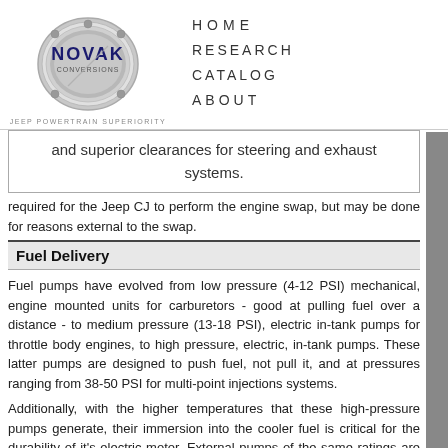[Figure (logo): Novak Conversions logo - circular silver emblem with NOVAK text and CONVERSIONS subtext, tagline JEEP POWERTRAIN SUPERIORITY]
HOME  RESEARCH  CATALOG  ABOUT
and superior clearances for steering and exhaust systems.
required for the Jeep CJ to perform the engine swap, but may be done for reasons external to the swap.
Fuel Delivery
Fuel pumps have evolved from low pressure (4-12 PSI) mechanical, engine mounted units for carburetors - good at pulling fuel over a distance - to medium pressure (13-18 PSI), electric in-tank pumps for throttle body engines, to high pressure, electric, in-tank pumps. These latter pumps are designed to push fuel, not pull it, and at pressures ranging from 38-50 PSI for multi-point injections systems.
Additionally, with the higher temperatures that these high-pressure pumps generate, their immersion into the cooler fuel is critical for the durability of it's electric motor. External pumps of the same ratings are available and are self-cooled by being built into heat dissipating aluminum housings.
Earlier Jeeps that have fuel tanks that were set up for carbureted